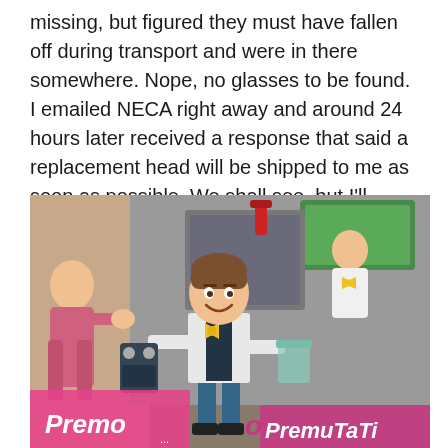missing, but figured they must have fallen off during transport and were in there somewhere. Nope, no glasses to be found. I emailed NECA right away and around 24 hours later received a response that said a replacement head will be shipped to me as soon as possible. We shall see, but I'll certainly update this post should that happen.
[Figure (photo): A photo of a NECA action figure of a cartoon scientist character in a white lab coat with a yellow bow tie, brown hair, holding equipment. The figure stands in front of colorful packaging/box art showing animated characters. Text on packaging reads 'Premo' and 'PremuTaTi'.]